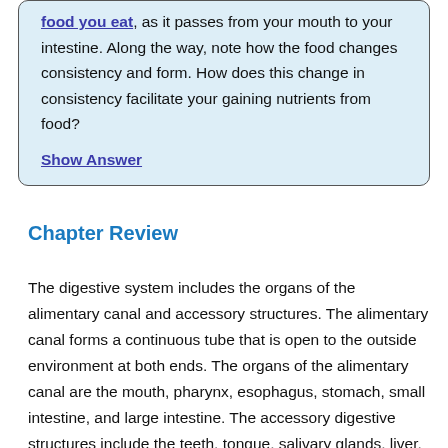food you eat, as it passes from your mouth to your intestine. Along the way, note how the food changes consistency and form. How does this change in consistency facilitate your gaining nutrients from food?
Show Answer
Chapter Review
The digestive system includes the organs of the alimentary canal and accessory structures. The alimentary canal forms a continuous tube that is open to the outside environment at both ends. The organs of the alimentary canal are the mouth, pharynx, esophagus, stomach, small intestine, and large intestine. The accessory digestive structures include the teeth, tongue, salivary glands, liver, pancreas, and